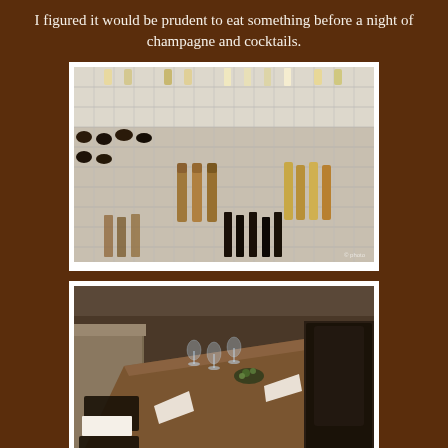I figured it would be prudent to eat something before a night of champagne and cocktails.
[Figure (photo): A wine cellar or wine wall with glass shelving holding numerous wine bottles arranged in a grid pattern. Some bottles are standing upright on lower shelves. The wall appears to be a modern, transparent wine storage system.]
[Figure (photo): A restaurant dining room with a long set table featuring leather booth seating on the left and dark leather chairs on the right. The table is set with wine glasses, placemats, white napkins, and centerpiece decorations. The ambiance is upscale and modern.]